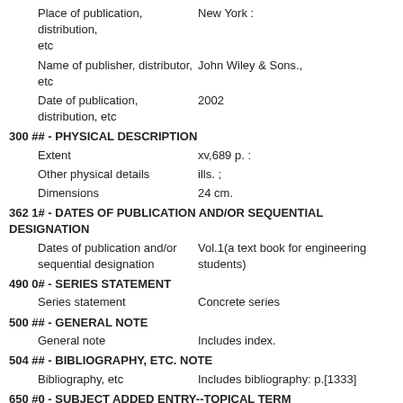Place of publication, distribution, etc    New York :
Name of publisher, distributor, etc    John Wiley & Sons.,
Date of publication, distribution, etc    2002
300 ## - PHYSICAL DESCRIPTION
Extent    xv,689 p. :
Other physical details    ills. ;
Dimensions    24 cm.
362 1# - DATES OF PUBLICATION AND/OR SEQUENTIAL DESIGNATION
Dates of publication and/or sequential designation    Vol.1(a text book for engineering students)
490 0# - SERIES STATEMENT
Series statement    Concrete series
500 ## - GENERAL NOTE
General note    Includes index.
504 ## - BIBLIOGRAPHY, ETC. NOTE
Bibliography, etc    Includes bibliography: p.[1333]
650 #0 - SUBJECT ADDED ENTRY--TOPICAL TERM
Topical term or geographic name as entry element    Structural frames.